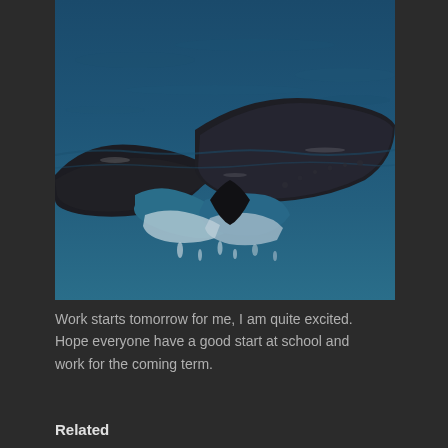[Figure (photo): A humpback whale tail (fluke) rising out of dark blue ocean water, water streaming off the flukes, taken close-up showing the black underside of the tail against choppy sea surface.]
Work starts tomorrow for me, I am quite excited. Hope everyone have a good start at school and work for the coming term.
Related